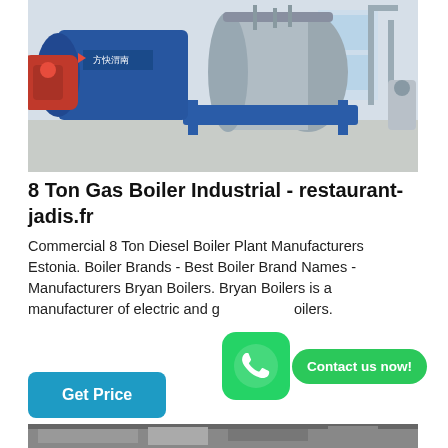[Figure (photo): Industrial gas boiler installation showing large cylindrical boilers mounted on blue metal frames inside a factory/plant room with white walls and windows. A red burner unit is visible on the left side. Chinese text/logo visible on equipment.]
8 Ton Gas Boiler Industrial - restaurant-jadis.fr
Commercial 8 Ton Diesel Boiler Plant Manufacturers Estonia. Boiler Brands - Best Boiler Brand Names - Manufacturers Bryan Boilers. Bryan Boilers is a manufacturer of electric and gas boilers.
[Figure (photo): Partial view of another industrial boiler or machinery, visible at the bottom of the page.]